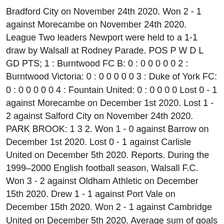Bradford City on November 24th 2020. Won 2 - 1 against Morecambe on November 24th 2020. League Two leaders Newport were held to a 1-1 draw by Walsall at Rodney Parade. POS P W D L GD PTS;1 : Burntwood FC B: 0 : 0 0 0 0 0 2 : Burntwood Victoria: 0 : 0 0 0 0 0 3 : Duke of York FC: 0 : 0 0 0 0 0 4 : Fountain United: 0 : 0 0 0 0 Lost 0 - 1 against Morecambe on December 1st 2020. Lost 1 - 2 against Salford City on November 24th 2020. PARK BROOK: 1 3 2. Won 1 - 0 against Barrow on December 1st 2020. Lost 0 - 1 against Carlisle United on December 5th 2020. Reports. During the 1999–2000 English football season, Walsall F.C. Won 3 - 2 against Oldham Athletic on December 15th 2020. Drew 1 - 1 against Port Vale on December 15th 2020. Won 2 - 1 against Cambridge United on December 5th 2020. Average sum of goals scored by the team and the opponent, Matches in which the team scored a goal in both halves, Matches in which the team lost a goal in both halves. Drew 1 - 1 against Mansfield Town on December 12th 2020. Walsall Football Club team news on Sky Sports - See